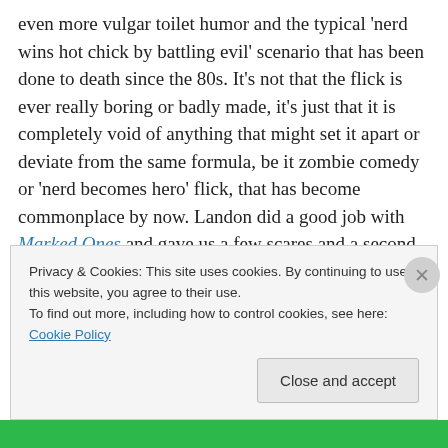even more vulgar toilet humor and the typical 'nerd wins hot chick by battling evil' scenario that has been done to death since the 80s. It's not that the flick is ever really boring or badly made, it's just that it is completely void of anything that might set it apart or deviate from the same formula, be it zombie comedy or 'nerd becomes hero' flick, that has become commonplace by now. Landon did a good job with Marked Ones and gave us a few scares and a second wind with a well worn franchise and formula. So, why he couldn't do the same here is disappointing. The cast all have fun with the material, at least and feisty
Privacy & Cookies: This site uses cookies. By continuing to use this website, you agree to their use.
To find out more, including how to control cookies, see here: Cookie Policy